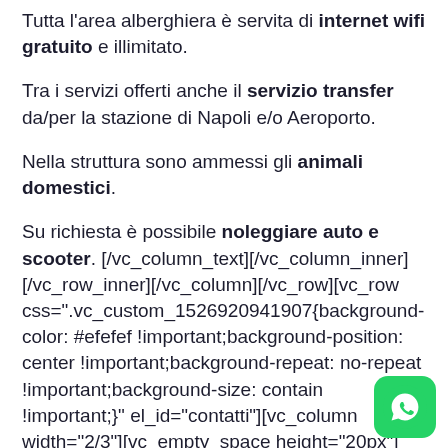Tutta l'area alberghiera è servita di internet wifi gratuito e illimitato.
Tra i servizi offerti anche il servizio transfer da/per la stazione di Napoli e/o Aeroporto.
Nella struttura sono ammessi gli animali domestici.
Su richiesta è possibile noleggiare auto e scooter. [/vc_column_text][/vc_column_inner][/vc_row_inner][/vc_column][/vc_row][vc_row css=".vc_custom_1526920941907{background-color: #efefef !important;background-position: center !important;background-repeat: no-repeat !important;background-size: contain !important;}" el_id="contatti"][vc_column width="2/3"][vc_empty_space height="20px"][vc_column_text]